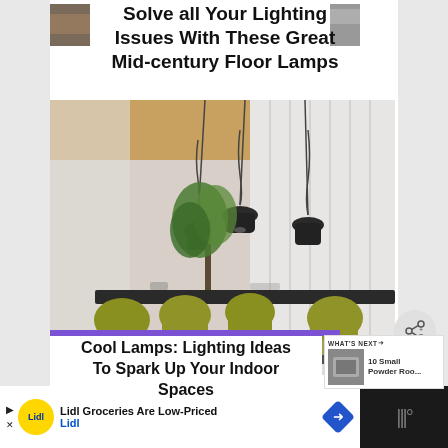Solve all Your Lighting Issues With These Great Mid-century Floor Lamps
[Figure (photo): Modern dining room with pendant lamps hanging from ceiling, dark dining table with yellow-green upholstered chairs, indoor plant visible in background, white curtains]
Cool Lamps: Lighting Ideas To Spark Up Your Indoor Spaces
[Figure (photo): WHAT'S NEXT thumbnail showing small powder room, with label: 10 Small Powder Roo...]
Lidl Groceries Are Low-Priced Lidl